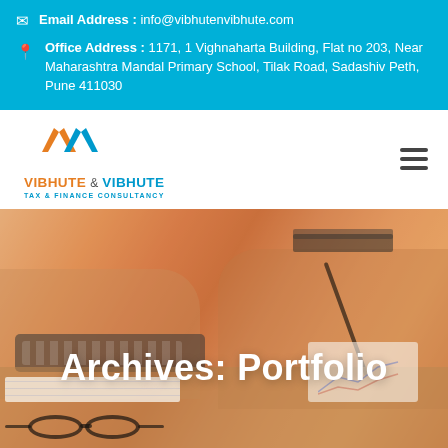Email Address : info@vibhutenvibhute.com
Office Address : 1171, 1 Vighnaharta Building, Flat no 203, Near Maharashtra Mandal Primary School, Tilak Road, Sadashiv Peth, Pune 411030
[Figure (logo): Vibhute & Vibhute Tax & Finance Consultancy logo with orange and blue chevron/V mark]
Archives: Portfolio